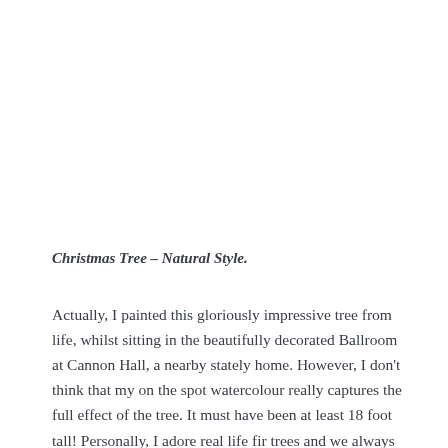Christmas Tree – Natural Style.
Actually, I painted this gloriously impressive tree from life, whilst sitting in the beautifully decorated Ballroom at Cannon Hall, a nearby stately home. However, I don't think that my on the spot watercolour really captures the full effect of the tree. It must have been at least 18 foot tall! Personally, I adore real life fir trees and we always have one in the house ( about 6 feet tall ). It really makes Christmas for me. And, I also choose a very simple,